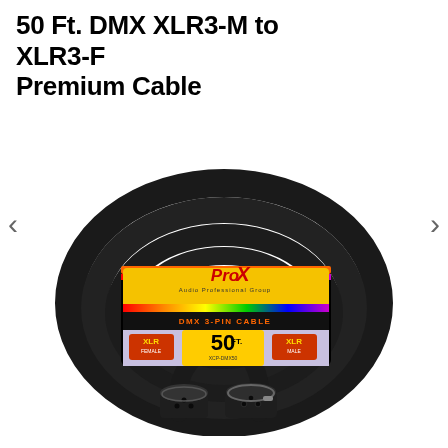50 Ft. DMX XLR3-M to XLR3-F Premium Cable
[Figure (photo): Product photo of a 50 Ft. DMX XLR3-M to XLR3-F Premium Cable by ProX. A coiled black cable with XLR male and female connectors visible at the bottom. A colorful product label (yellow, black, rainbow gradient) is wrapped around the coil, displaying ProX branding, 'DMX 3-PIN CABLE', '50 FT', 'XLR FEMALE' and 'XLR MALE' text on orange/yellow badges.]